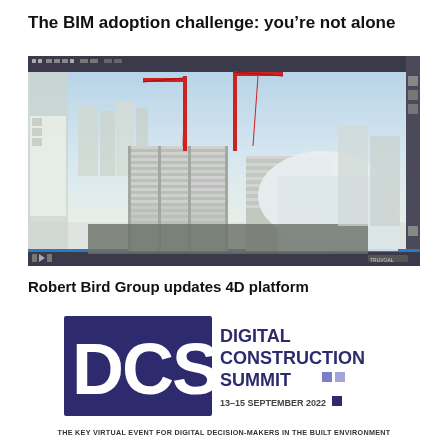The BIM adoption challenge: you're not alone
[Figure (screenshot): 3D BIM model screenshot showing a city construction scene with cranes, multi-story building under construction with structural framework visible, surrounding urban buildings, viewed from an aerial perspective. Software interface elements visible at top and sides.]
Robert Bird Group updates 4D platform
[Figure (logo): Digital Construction Summit (DCS) logo. Large bold 'DCS' letters in white on dark purple/navy background rectangle, followed by 'DIGITAL CONSTRUCTION SUMMIT' text in dark purple, with small purple squares and date '13-15 SEPTEMBER 2022'.]
THE KEY VIRTUAL EVENT FOR DIGITAL DECISION-MAKERS IN THE BUILT ENVIRONMENT